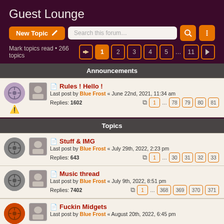Guest Lounge
Mark topics read • 266 topics
Announcements
Rules ! Hello !
Last post by Blue Frost « June 22nd, 2021, 11:34 am
Replies: 1602
Pages: 1 ... 78 79 80 81
Topics
Stuff & IMG
Last post by Blue Frost « July 29th, 2022, 2:23 pm
Replies: 643
Pages: 1 ... 30 31 32 33
Music thread
Last post by Blue Frost « July 9th, 2022, 8:51 pm
Replies: 7402
Pages: 1 ... 368 369 370 371
Fuckin Midgets
Last post by Blue Frost « August 20th, 2022, 6:45 pm